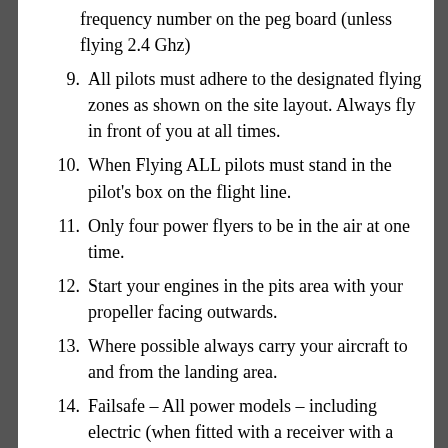frequency number on the peg board (unless flying 2.4 Ghz)
9. All pilots must adhere to the designated flying zones as shown on the site layout. Always fly in front of you at all times.
10. When Flying ALL pilots must stand in the pilot's box on the flight line.
11. Only four power flyers to be in the air at one time.
12. Start your engines in the pits area with your propeller facing outwards.
13. Where possible always carry your aircraft to and from the landing area.
14. Failsafe – All power models – including electric (when fitted with a receiver with a failsafe function) must be set to a    minimum of throttle to idle on the loss of the radio link, regardless of the model's weight. Models over 7kg must have a